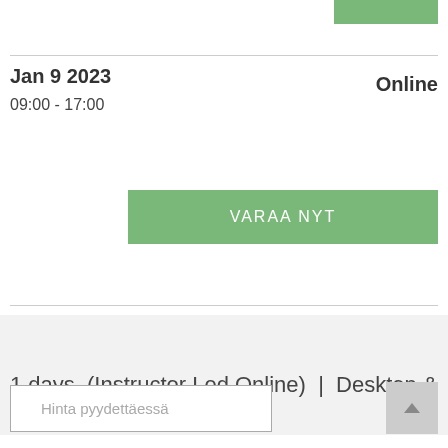Jan 9 2023
09:00 - 17:00
Online
VARAA NYT
1 days  (Instructor Led Online)  |  Desktop & Mobility
Hinta pyydettäessä